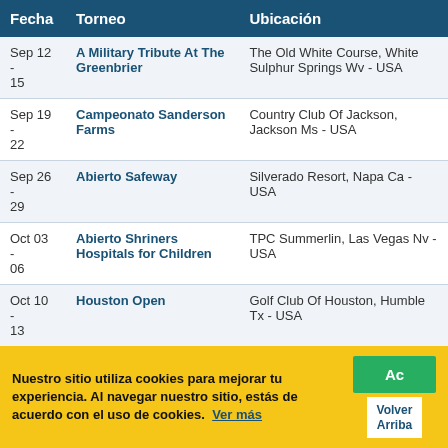| Fecha | Torneo | Ubicación |
| --- | --- | --- |
| Sep 12 - 15 | A Military Tribute At The Greenbrier | The Old White Course, White Sulphur Springs Wv - USA |
| Sep 19 - 22 | Campeonato Sanderson Farms | Country Club Of Jackson, Jackson Ms - USA |
| Sep 26 - 29 | Abierto Safeway | Silverado Resort, Napa Ca - USA |
| Oct 03 - 06 | Abierto Shriners Hospitals for Children | TPC Summerlin, Las Vegas Nv - USA |
| Oct 10 - 13 | Houston Open | Golf Club Of Houston, Humble Tx - USA |
| Oct 17 - 20 | Copa CJ @ NINE BRIDGES | Nine Bridges Golf Resort, Isla Jeju |
Nuestro sitio utiliza cookies para mejorar tu experiencia. Al navegar nuestro sitio, estás de acuerdo con el uso de cookies. Ver más